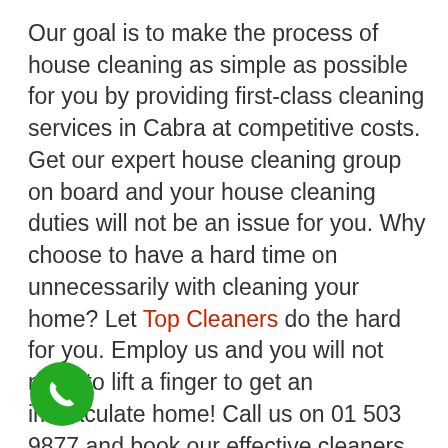Our goal is to make the process of house cleaning as simple as possible for you by providing first-class cleaning services in Cabra at competitive costs. Get our expert house cleaning group on board and your house cleaning duties will not be an issue for you. Why choose to have a hard time on unnecessarily with cleaning your home? Let Top Cleaners do the hard for you. Employ us and you will not need to lift a finger to get an immaculate home! Call us on 01 503 9877 and book our effective cleaners in Cabra.
[Figure (other): Green circular phone call button icon]